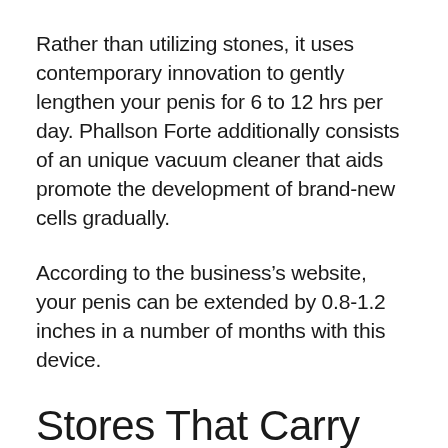Rather than utilizing stones, it uses contemporary innovation to gently lengthen your penis for 6 to 12 hrs per day. Phallson Forte additionally consists of an unique vacuum cleaner that aids promote the development of brand-new cells gradually.
According to the business’s website, your penis can be extended by 0.8-1.2 inches in a number of months with this device.
Stores That Carry Mega Penis Extender – 9 Inch
Numerous guys worry that if they extend their penis it will certainly come to be skinner.